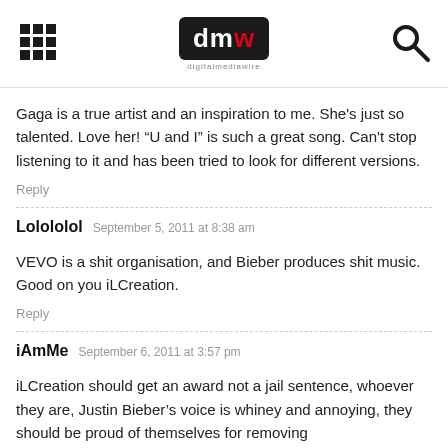digitalmediawire
Gaga is a true artist and an inspiration to me. She's just so talented. Love her! “U and I” is such a great song. Can't stop listening to it and has been tried to look for different versions.
Reply
Lolololol   September 5, 2011 at 8:38 am
VEVO is a shit organisation, and Bieber produces shit music. Good on you iLCreation.
Reply
iAmMe   September 6, 2011 at 3:57 pm
iLCreation should get an award not a jail sentence, whoever they are, Justin Bieber’s voice is whiney and annoying, they should be proud of themselves for removing